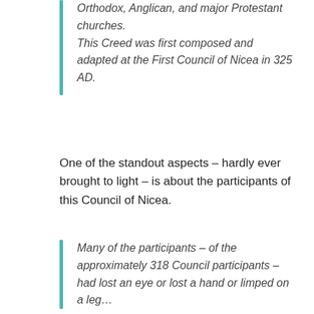Orthodox, Anglican, and major Protestant churches.
This Creed was first composed and adapted at the First Council of Nicea in 325 AD.
One of the standout aspects – hardly ever brought to light – is about the participants of this Council of Nicea.
Many of the participants – of the approximately 318 Council participants – had lost an eye or lost a hand or limped on a leg…
… as a result of the torture they suffered for their Christian faith!
These bishops who met at Nicea had just come out of an extremely challenging time of intense